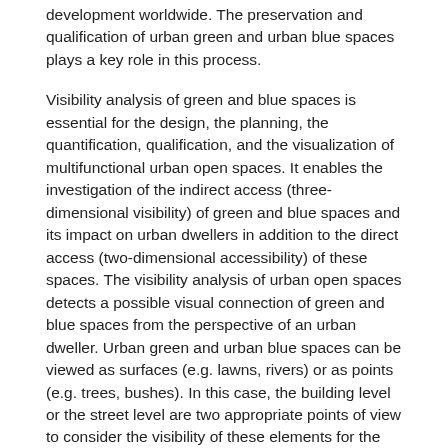development worldwide. The preservation and qualification of urban green and urban blue spaces plays a key role in this process.
Visibility analysis of green and blue spaces is essential for the design, the planning, the quantification, qualification, and the visualization of multifunctional urban open spaces. It enables the investigation of the indirect access (three-dimensional visibility) of green and blue spaces and its impact on urban dwellers in addition to the direct access (two-dimensional accessibility) of these spaces. The visibility analysis of urban open spaces detects a possible visual connection of green and blue spaces from the perspective of an urban dweller. Urban green and urban blue spaces can be viewed as surfaces (e.g. lawns, rivers) or as points (e.g. trees, bushes). In this case, the building level or the street level are two appropriate points of view to consider the visibility of these elements for the dweller.
The aim of this project is the development of a visibility index to measure and to assess the visibility potential of existing and planned urban open spaces regarding spatial configuration and location within the urban structure and its relevance for individual quality of life. In this way, not only spatial but also content-related